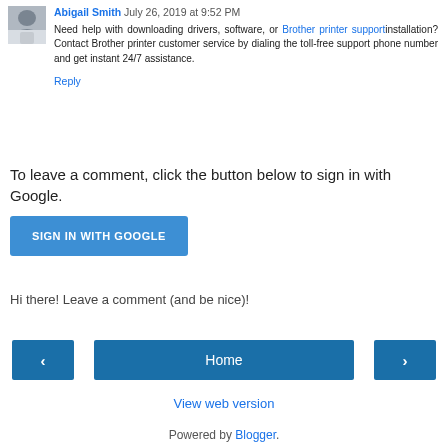Abigail Smith  July 26, 2019 at 9:52 PM
Need help with downloading drivers, software, or Brother printer support installation? Contact Brother printer customer service by dialing the toll-free support phone number and get instant 24/7 assistance.
Reply
To leave a comment, click the button below to sign in with Google.
SIGN IN WITH GOOGLE
Hi there! Leave a comment (and be nice)!
‹
Home
›
View web version
Powered by Blogger.